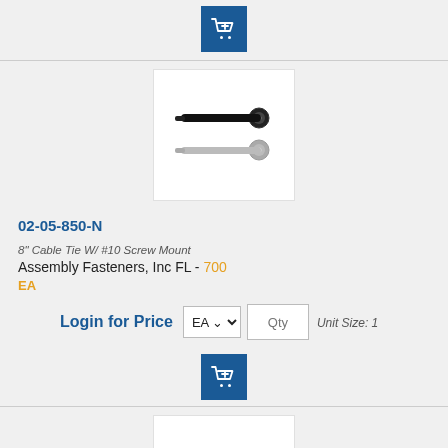[Figure (illustration): Blue add-to-cart button with shopping cart and plus icon, top of page]
[Figure (photo): Product image of two 8-inch cable ties with #10 screw mount heads, one black and one grey, shown on white background]
02-05-850-N
8" Cable Tie W/ #10 Screw Mount
Assembly Fasteners, Inc FL - 700
EA
Login for Price
EA
Qty
Unit Size: 1
[Figure (illustration): Blue add-to-cart button with shopping cart and plus icon]
[Figure (photo): Product image of cable ties shown horizontally on white background, bottom section]